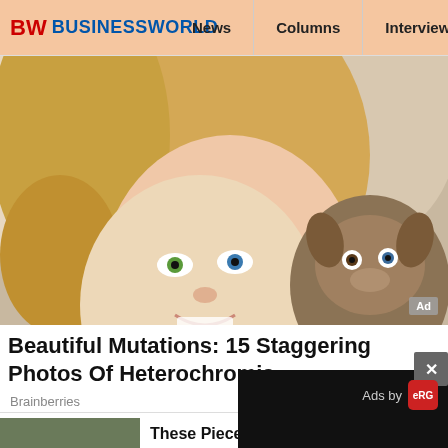BW BUSINESSWORLD | News | Columns | Interviews | BW
[Figure (photo): A smiling blonde woman with heterochromia (one green eye, one blue eye) holding a puppy that also appears to have one blue eye. Close-up portrait photo.]
Beautiful Mutations: 15 Staggering Photos Of Heterochromia
Brainberries
[Figure (photo): Thumbnail image showing a painting resembling the Mona Lisa with red background.]
These Pieces Are Of Virgil Abloh's
Herbeauty
[Figure (screenshot): Black video ad overlay popup with close button (x) showing 'Ads by eRG' branding and a pause button (II).]
How Owen Beca Famous Than His Younger